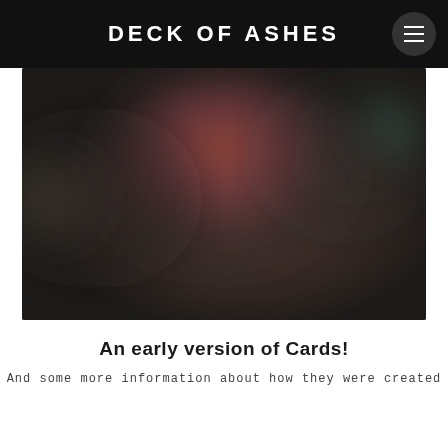DECK OF ASHES
[Figure (photo): Blurred abstract image with warm reddish-orange tones in the center, greenish tones on the right, and dark brownish-green tones on the left and bottom. The image appears to be a heavily blurred photograph of some kind of scene or objects.]
An early version of Cards!
And some more information about how they were created